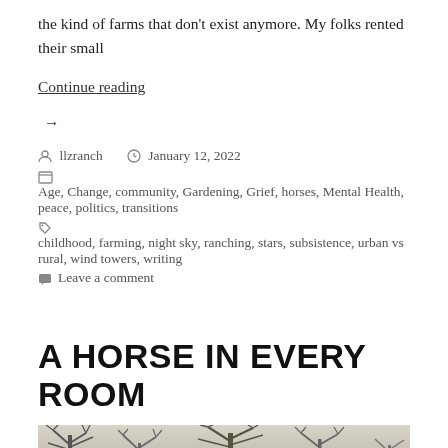the kind of farms that don't exist anymore. My folks rented their small
Continue reading  →
By llzranch   January 12, 2022
Age, Change, community, Gardening, Grief, horses, Mental Health, peace, politics, transitions
childhood, farming, night sky, ranching, stars, subsistence, urban vs rural, wind towers, writing
Leave a comment
A HORSE IN EVERY ROOM
[Figure (photo): Outdoor winter scene with bare tree silhouettes against a light sky]